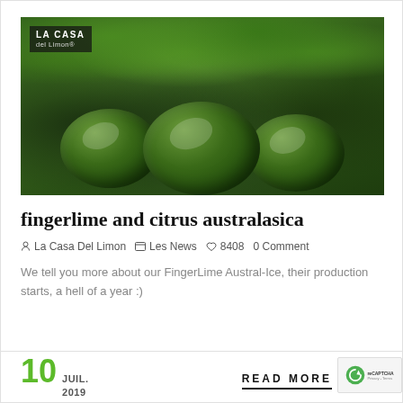[Figure (photo): Close-up photo of large green limes or finger limes with water droplets, surrounded by dark green leaves. 'LA CASA' logo text overlay in top-left corner.]
fingerlime and citrus australasica
La Casa Del Limon   Les News   8408   0 Comment
We tell you more about our FingerLime Austral-Ice, their production starts, a hell of a year :)
10   JUIL. 2019   READ MORE